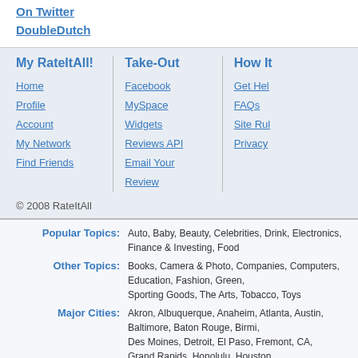On Twitter
DoubleDutch
My RateItAll!
Home
Profile
Account
My Network
Find Friends
Take-Out
Facebook
MySpace
Widgets
Reviews API
Email Your Review
How It
Get Hel
FAQs
Site Rul
Privacy
© 2008 RateItAll
Popular Topics: Auto, Baby, Beauty, Celebrities, Drink, Electronics, Finance & Investing, Food
Other Topics: Books, Camera & Photo, Companies, Computers, Education, Fashion, Green, Sporting Goods, The Arts, Tobacco, Toys
Major Cities: Akron, Albuquerque, Anaheim, Atlanta, Austin, Baltimore, Baton Rouge, Birmi, Des Moines, Detroit, El Paso, Fremont, CA, Grand Rapids, Honolulu, Houston, Mobile, AL, Nashville, New Orleans, New York, Newark, Philadelphia, Phoenix, Seattle, St. Louis, Tampa, Tempe, Washington